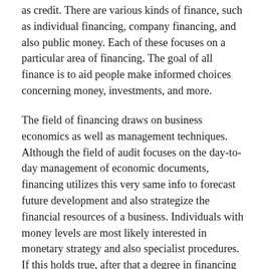as credit. There are various kinds of finance, such as individual financing, company financing, and also public money. Each of these focuses on a particular area of financing. The goal of all finance is to aid people make informed choices concerning money, investments, and more.
The field of financing draws on business economics as well as management techniques. Although the field of audit focuses on the day-to-day management of economic documents, financing utilizes this very same info to forecast future development and also strategize the financial resources of a business. Individuals with money levels are most likely interested in monetary strategy and also specialist procedures. If this holds true, after that a degree in financing may be right for you. Simply make certain to select a school that is accredited by the AICPA. quotes debt here